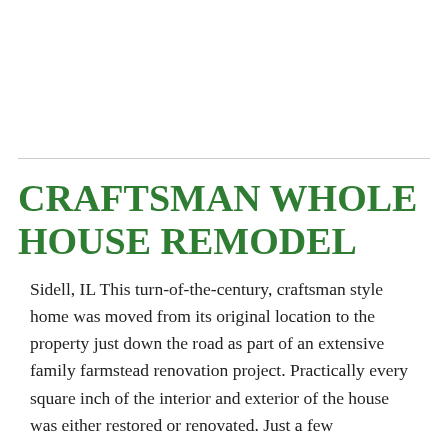CRAFTSMAN WHOLE HOUSE REMODEL
Sidell, IL This turn-of-the-century, craftsman style home was moved from its original location to the property just down the road as part of an extensive family farmstead renovation project. Practically every square inch of the interior and exterior of the house was either restored or renovated. Just a few